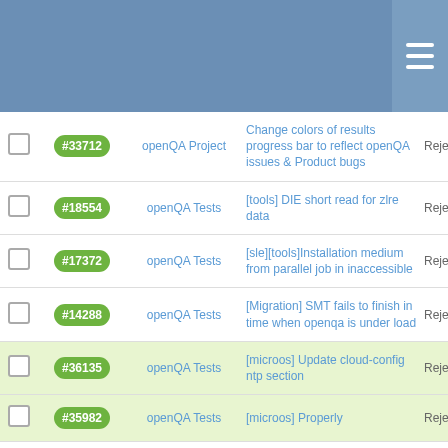Header bar with hamburger menu
|  | ID | Project | Description | Status |
| --- | --- | --- | --- | --- |
|  | #33712 | openQA Project | Change colors of results progress bar to reflect openQA issues & Product bugs | Reject |
|  | #18554 | openQA Tests | [tools] DIE short read for zlre data | Reject |
|  | #17372 | openQA Tests | [sle][tools]Installation medium from parallel job in inaccessible | Reject |
|  | #14288 | openQA Tests | [Migration] SMT fails to finish in time when openqa is under load | Reject |
|  | #36135 | openQA Tests | [microos] Update cloud-config ntp section | Reject |
|  | #35982 | openQA Tests | [microos] Properly | Reject |